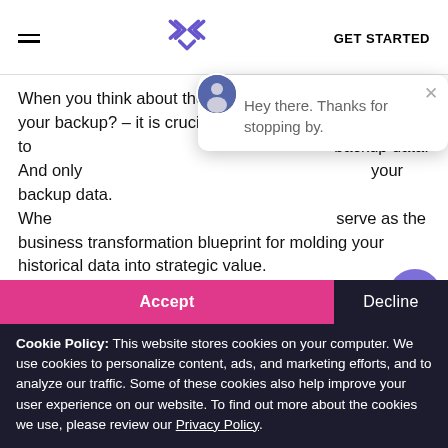GET STARTED
When you think about the question – who's got your backup? – it is crucial to protect your backup data. And only you can protect your backup data. Where the backup data can serve as the business transformation blueprint for molding your historical data into strategic value.
Recently, GRAX was featured in the Salesforce webinar: Who's Got Your Back(up)? Where we had the
[Figure (screenshot): Chat widget popup with avatar photo, X close button, and message 'Hey there. Thanks for stopping by.']
[Figure (screenshot): Purple circular chat button icon]
Cookie Policy: This website stores cookies on your computer. We use cookies to personalize content, ads, and marketing efforts, and to analyze our traffic. Some of these cookies also help improve your user experience on our website. To find out more about the cookies we use, please review our Privacy Policy.